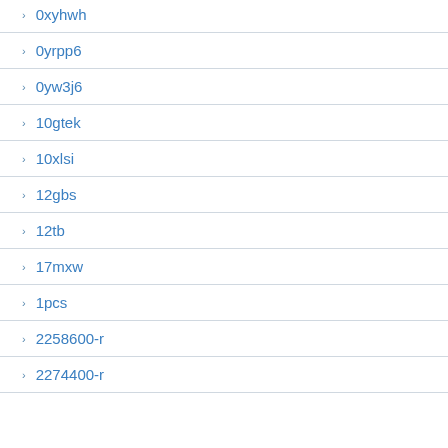0xyhwh
0yrpp6
0yw3j6
10gtek
10xlsi
12gbs
12tb
17mxw
1pcs
2258600-r
2274400-r